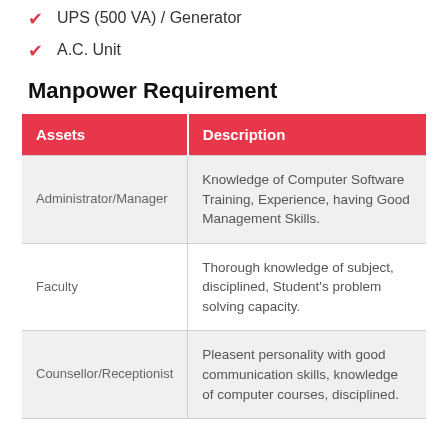UPS (500 VA) / Generator
A.C. Unit
Manpower Requirement
| Assets | Description |
| --- | --- |
| Administrator/Manager | Knowledge of Computer Software Training, Experience, having Good Management Skills. |
| Faculty | Thorough knowledge of subject, disciplined, Student's problem solving capacity. |
| Counsellor/Receptionist | Pleasent personality with good communication skills, knowledge of computer courses, disciplined. |